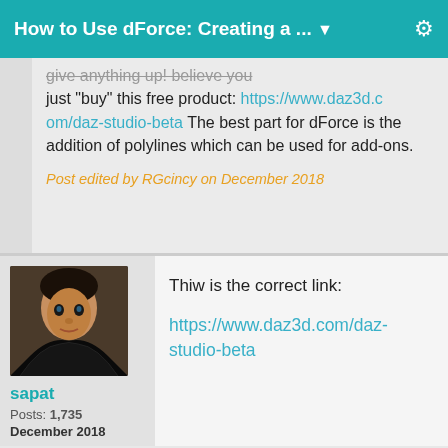How to Use dForce: Creating a ...
give anything up! believe you just "buy" this free product: https://www.daz3d.com/daz-studio-beta The best part for dForce is the addition of polylines which can be used for add-ons.
Post edited by RGcincy on December 2018
Thiw is the correct link:
https://www.daz3d.com/daz-studio-beta
sapat
Posts: 1,735
December 2018